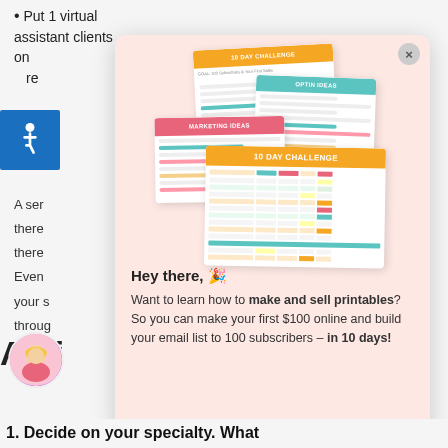Put 1 virtual assistant clients on re
[Figure (illustration): Accessibility icon - wheelchair symbol on blue background]
A ser there there Even your s throug
[Figure (illustration): Popup modal with pink/salmon background showing a cluster of printable challenge and marketing worksheet cards: '10 DAY CHALLENGE', 'OPTIN IDEAS', 'MARKETING IDEAS', '10 DAY CHALLENGE' table card. Below the cards is promotional text.]
Hey there, 🎉
Want to learn how to make and sell printables? So you can make your first $100 online and build your email list to 100 subscribers – in 10 days!
Acti
[Figure (photo): Avatar photo of a woman with blonde hair]
1. Decide on your specialty. What